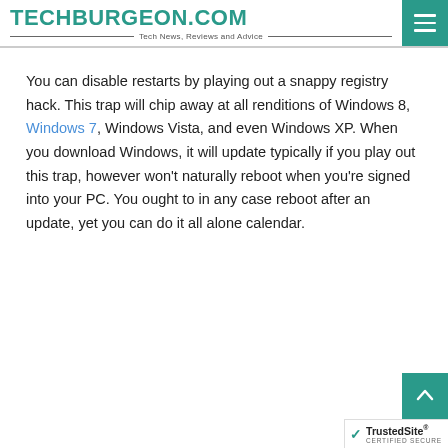TECHBURGEON.COM — Tech News, Reviews and Advice
You can disable restarts by playing out a snappy registry hack. This trap will chip away at all renditions of Windows 8, Windows 7, Windows Vista, and even Windows XP. When you download Windows, it will update typically if you play out this trap, however won't naturally reboot when you're signed into your PC. You ought to in any case reboot after an update, yet you can do it all alone calendar.